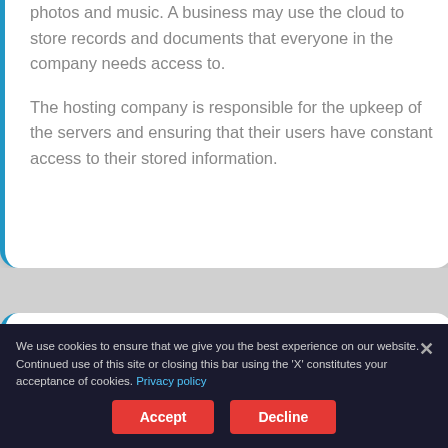photos and music. A business may use the cloud to store records and documents that everyone in the company needs access to.
The hosting company is responsible for the upkeep of the servers and ensuring that their users have constant access to their stored information.
Has the Cloud Changed the Way You Use the Internet?
The cloud has had a significant impact on business
We use cookies to ensure that we give you the best experience on our website. Continued use of this site or closing this bar using the 'X' constitutes your acceptance of cookies. Privacy policy